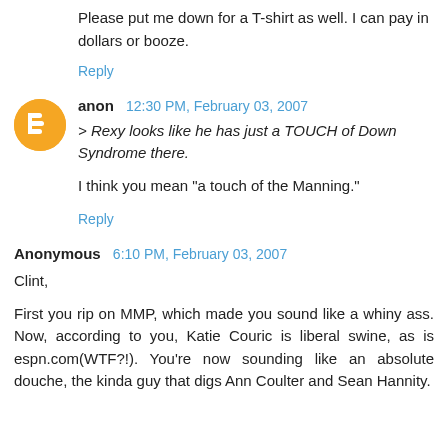Please put me down for a T-shirt as well. I can pay in dollars or booze.
Reply
anon  12:30 PM, February 03, 2007
> Rexy looks like he has just a TOUCH of Down Syndrome there.
I think you mean "a touch of the Manning."
Reply
Anonymous  6:10 PM, February 03, 2007
Clint,

First you rip on MMP, which made you sound like a whiny ass. Now, according to you, Katie Couric is liberal swine, as is espn.com(WTF?!). You're now sounding like an absolute douche, the kinda guy that digs Ann Coulter and Sean Hannity.